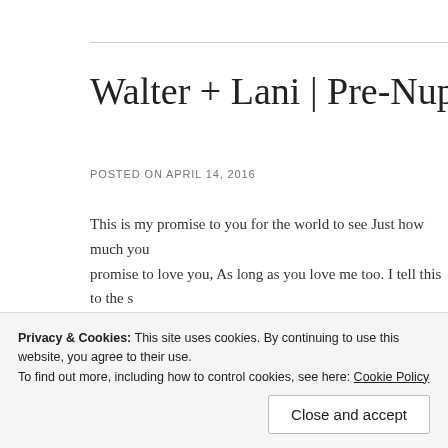Walter + Lani | Pre-Nup S
POSTED ON APRIL 14, 2016
This is my promise to you for the world to see Just how much you promise to love you, As long as you love me too. I tell this to the s you that you will always be loved. I tell this to the fish in the […]
Posted in Portraiture, Weddings | Tagged Coron Palawan Weddi Nido, El Nido Island Wedding, El Nido Palawan Wedding Photo PreNuptial, El Nido PreNuptial Wedding Photographer, El Nido photography, Newborn Photography, On Location Pre-Nuptial P l ocation Wedding, On location Wedding Photographer, Outdoo
Privacy & Cookies: This site uses cookies. By continuing to use this website, you agree to their use.
To find out more, including how to control cookies, see here: Cookie Policy
Close and accept